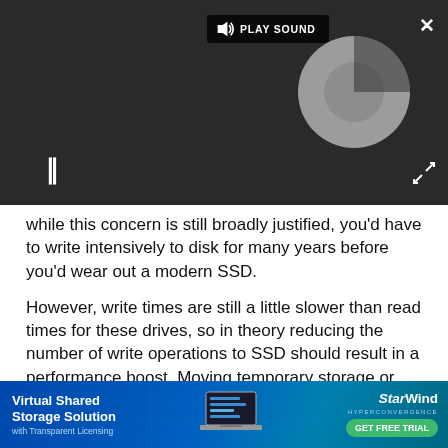[Figure (screenshot): Video player overlay on dark background with PLAY SOUND button, a loading spinner (circular gray element), pause icon (two vertical bars), close X button top-right, and expand icon bottom-right.]
while this concern is still broadly justified, you'd have to write intensively to disk for many years before you'd wear out a modern SSD.
However, write times are still a little slower than read times for these drives, so in theory reducing the number of write operations to SSD should result in a performance boost. Moving temporary storage or working folders to RAM may help, but avoid merely transferring these to a slower drive, otherwise you won't see any improvement.
[Figure (infographic): Advertisement banner for StarWind Hyperconvergence. Blue gradient background with laptop illustration. Text: Virtual Shared Storage Solution with Transparent Licensing. StarWind HYPERCONVERGENCE. GET FREE TRIAL button in green.]